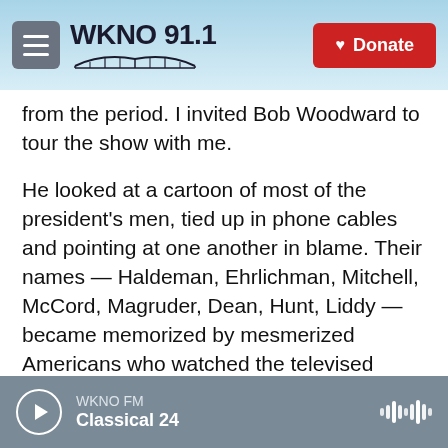WKNO 91.1 | Donate
from the period. I invited Bob Woodward to tour the show with me.
He looked at a cartoon of most of the president's men, tied up in phone cables and pointing at one another in blame. Their names — Haldeman, Ehrlichman, Mitchell, McCord, Magruder, Dean, Hunt, Liddy — became memorized by mesmerized Americans who watched the televised Watergate hearings. All those presidents' men went to jail. Nixon did not; he resigned.
A Time magazine cover in the museum shows a younger Nixon, after his 1972 landslide victory, the
WKNO FM — Classical 24